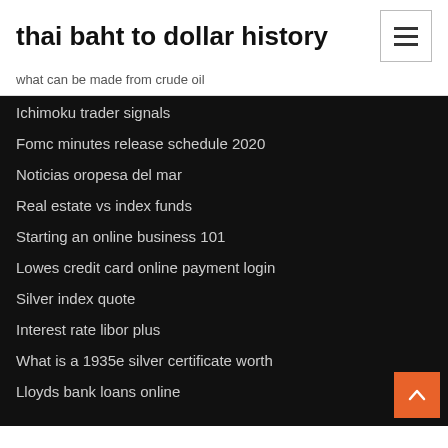thai baht to dollar history
what can be made from crude oil
Ichimoku trader signals
Fomc minutes release schedule 2020
Noticias oropesa del mar
Real estate vs index funds
Starting an online business 101
Lowes credit card online payment login
Silver index quote
Interest rate libor plus
What is a 1935e silver certificate worth
Lloyds bank loans online